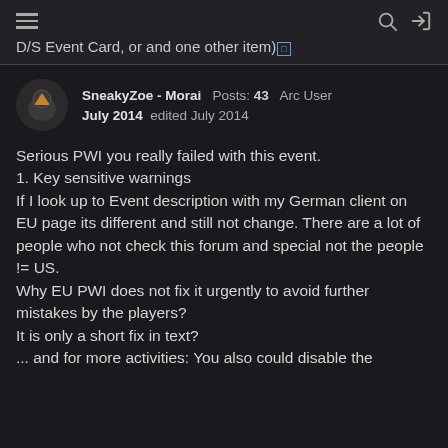D/S Event Card, or and one other item)
SneakyZoe - Morai  Posts: 43  Arc User
July 2014  edited July 2014
Serious PWI you really failed with this event.
1. Key sensitive warnings
If I look up to Event description with my German client on EU page its different and still not change. There are a lot of people who not check this forum and special not the people != US.
Why EU PWI does not fix it urgently to avoid further mistakes by the players?
It is only a short fix in text?
... and for more activities: You also could disable the